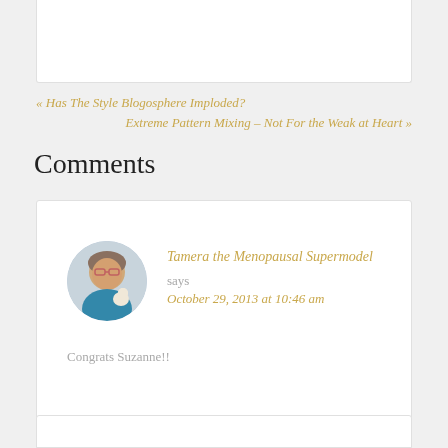« Has The Style Blogosphere Imploded?
Extreme Pattern Mixing – Not For the Weak at Heart »
Comments
[Figure (photo): Circular avatar photo of a woman holding a small dog]
Tamera the Menopausal Supermodel says October 29, 2013 at 10:46 am
Congrats Suzanne!!